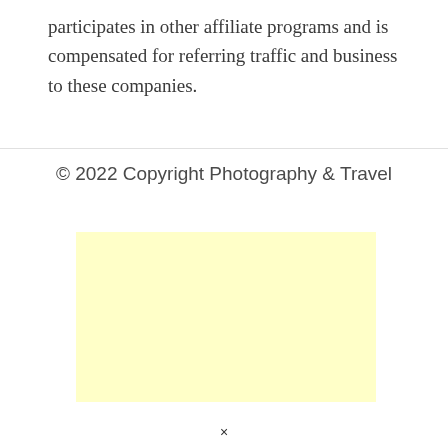participates in other affiliate programs and is compensated for referring traffic and business to these companies.
© 2022 Copyright Photography & Travel
[Figure (other): Light yellow advertisement placeholder block]
×